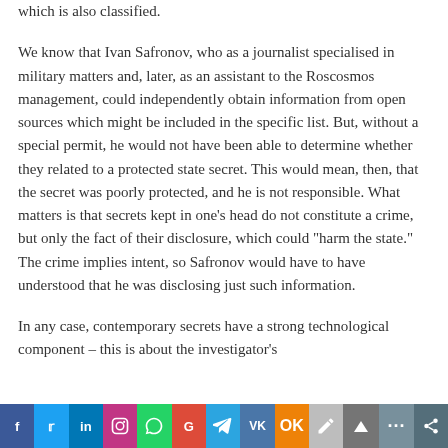which is also classified.
We know that Ivan Safronov, who as a journalist specialised in military matters and, later, as an assistant to the Roscosmos management, could independently obtain information from open sources which might be included in the specific list. But, without a special permit, he would not have been able to determine whether they related to a protected state secret. This would mean, then, that the secret was poorly protected, and he is not responsible. What matters is that secrets kept in one’s head do not constitute a crime, but only the fact of their disclosure, which could “harm the state.” The crime implies intent, so Safronov would have to have understood that he was disclosing just such information.
In any case, contemporary secrets have a strong technological component – this is about the investigator’s
f  t  in  o  wa  G  tg  vk  ok  pen  more  share